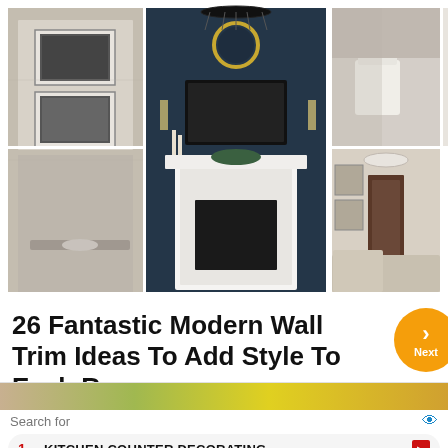[Figure (photo): Collage of 6 interior room photos showing modern wall trim ideas: bathroom with framed art, dark blue fireplace wall, bathroom corner, white kitchen, blue dining room, beige living room, and dark herringbone wall panel]
26 Fantastic Modern Wall Trim Ideas To Add Style To Each Room
[Figure (other): Orange circular Next navigation button]
[Figure (photo): Partial image strip at bottom]
Search for
1  KITCHEN COUNTER DECORATING
2  FANCY MASON JARS